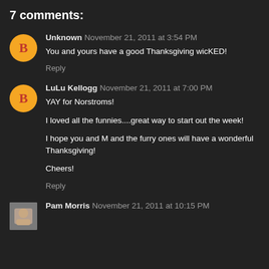7 comments:
Unknown November 21, 2011 at 3:54 PM
You and yours have a good Thanksgiving wicKED!
Reply
LuLu Kellogg November 21, 2011 at 7:00 PM
YAY for Norstroms!
I loved all the funnies....great way to start out the week!
I hope you and M and the furry ones will have a wonderful Thanksgiving!
Cheers!
Reply
Pam Morris November 21, 2011 at 10:15 PM